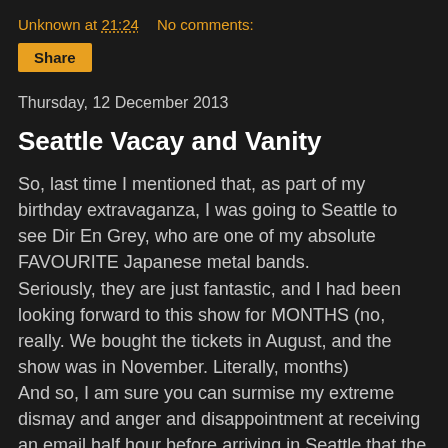Unknown at 21:24   No comments:
Share
Thursday, 12 December 2013
Seattle Vacay and Vanity
So, last time I mentioned that, as part of my birthday extravaganza, I was going to Seattle to see Dir En Grey, who are one of my absolute FAVOURITE Japanese metal bands.
Seriously, they are just fantastic, and I had been looking forward to this show for MONTHS (no, really. We bought the tickets in August, and the show was in November. Literally, months)
And so, I am sure you can surmise my extreme dismay and anger and disappointment at receiving an email half hour before arriving in Seattle that the show was to be postponed to the following night.